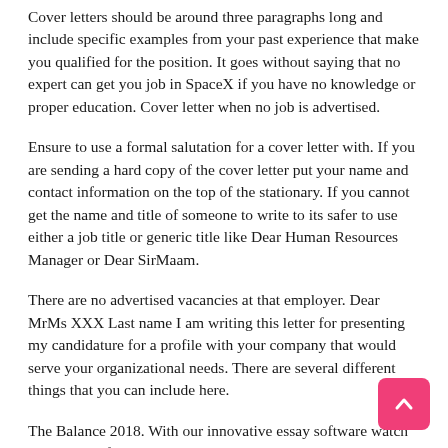Cover letters should be around three paragraphs long and include specific examples from your past experience that make you qualified for the position. It goes without saying that no expert can get you job in SpaceX if you have no knowledge or proper education. Cover letter when no job is advertised.
Ensure to use a formal salutation for a cover letter with. If you are sending a hard copy of the cover letter put your name and contact information on the top of the stationary. If you cannot get the name and title of someone to write to its safer to use either a job title or generic title like Dear Human Resources Manager or Dear SirMaam.
There are no advertised vacancies at that employer. Dear MrMs XXX Last name I am writing this letter for presenting my candidature for a profile with your company that would serve your organizational needs. There are several different things that you can include here.
The Balance 2018. With our innovative essay software watch the quality of your work increase while your stress levels